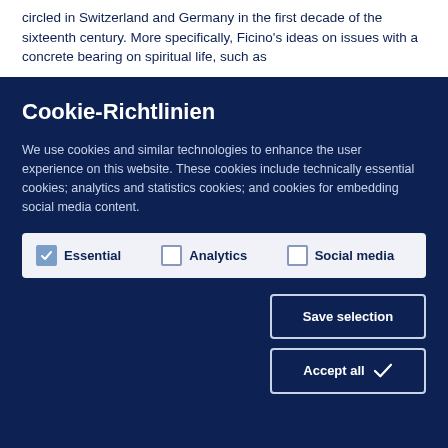circled in Switzerland and Germany in the first decade of the sixteenth century. More specifically, Ficino's ideas on issues with a concrete bearing on spiritual life, such as
Cookie-Richtlinien
We use cookies and similar technologies to enhance the user experience on this website. These cookies include technically essential cookies; analytics and statistics cookies; and cookies for embedding social media content.
Essential  Analytics  Social media
Save selection
Accept all